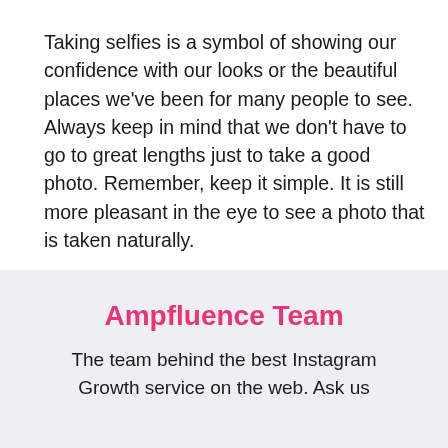Taking selfies is a symbol of showing our confidence with our looks or the beautiful places we've been for many people to see. Always keep in mind that we don't have to go to great lengths just to take a good photo. Remember, keep it simple. It is still more pleasant in the eye to see a photo that is taken naturally.
Ampfluence Team
The team behind the best Instagram Growth service on the web. Ask us